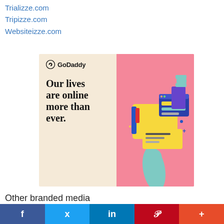Trializze.com
Tripizze.com
Websiteizze.com
[Figure (illustration): GoDaddy advertisement banner split into two halves: left side cream/beige with GoDaddy logo and bold text 'Our lives are online more than ever.', right side pink with a 3D illustration of a hand holding a website/device mockup with colorful UI elements.]
Other branded media and marketplace locations
f  t  in  P  +